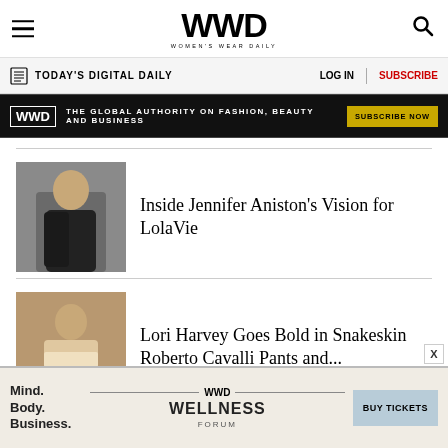WWD WOMEN'S WEAR DAILY
TODAY'S DIGITAL DAILY | LOG IN | SUBSCRIBE
[Figure (infographic): WWD ad banner: THE GLOBAL AUTHORITY ON FASHION, BEAUTY AND BUSINESS — SUBSCRIBE NOW]
[Figure (photo): Jennifer Aniston photo thumbnail]
Inside Jennifer Aniston's Vision for LolaVie
[Figure (photo): Lori Harvey photo thumbnail]
Lori Harvey Goes Bold in Snakeskin Roberto Cavalli Pants and...
[Figure (photo): Khloé Kardashian photo thumbnail (partially visible)]
Khloé Kardashian
[Figure (infographic): WWD Wellness Forum ad banner: Mind. Body. Business. — BUY TICKETS]